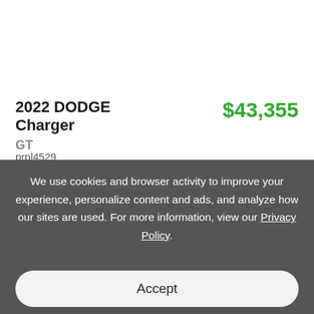[Figure (photo): Partial view of a white Dodge Charger vehicle, showing the underside and wheels from a slightly elevated angle, black and white/grayscale image]
2022 DODGE Charger
GT
$43,355
prpl4529
2C3CDYMO…NU801608
We use cookies and browser activity to improve your experience, personalize content and ads, and analyze how our sites are used. For more information, view our Privacy Policy.
Accept